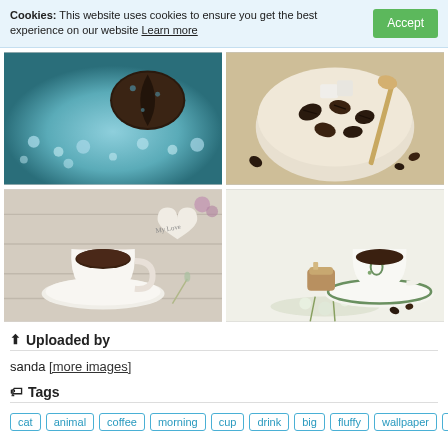Cookies: This website uses cookies to ensure you get the best experience on our website Learn more Accept
[Figure (photo): Four coffee-themed photos in a 2x2 grid: top-left shows a dark coffee bean close-up with water bubbles/teal background; top-right shows coffee beans in a bowl with sugar cubes and a spoon; bottom-left shows a white coffee cup on a saucer with a heart-shaped 'My Love' tag and purple flowers on a rustic table; bottom-right shows an ornate green-and-white teacup with saucer, a pastry, and white flowers.]
Uploaded by
sanda [more images]
Tags
cat
animal
coffee
morning
cup
drink
big
fluffy
wallpaper
hd